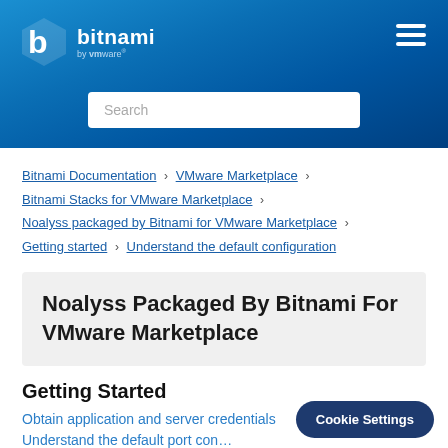[Figure (logo): Bitnami by VMware logo in white, on blue gradient header background]
Search
Bitnami Documentation > VMware Marketplace > Bitnami Stacks for VMware Marketplace > Noalyss packaged by Bitnami for VMware Marketplace > Getting started > Understand the default configuration
Noalyss Packaged By Bitnami For VMware Marketplace
Getting Started
Obtain application and server credentials
Understand the default port con…